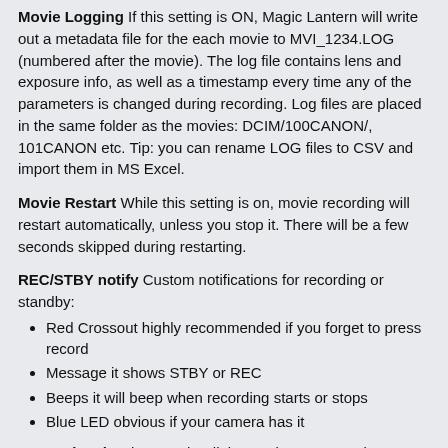Movie Logging If this setting is ON, Magic Lantern will write out a metadata file for the each movie to MVI_1234.LOG (numbered after the movie). The log file contains lens and exposure info, as well as a timestamp every time any of the parameters is changed during recording. Log files are placed in the same folder as the movies: DCIM/100CANON/, 101CANON etc. Tip: you can rename LOG files to CSV and import them in MS Excel.
Movie Restart While this setting is on, movie recording will restart automatically, unless you stop it. There will be a few seconds skipped during restarting.
REC/STBY notify Custom notifications for recording or standby:
Red Crossout highly recommended if you forget to press record
Message it shows STBY or REC
Beeps it will beep when recording starts or stops
Blue LED obvious if your camera has it
Force LiveView bypass the dialog saying Press LV button to activate movie shooting.
Always: force LiveView even if you use an unchipped lens, or no lens at all. Be careful, you may get dust on the sensor while changing lenses.
Start & CPU lenses: it will force LiveView at startup, regardless of the lens used. After this, it will only bypass the dialog when a